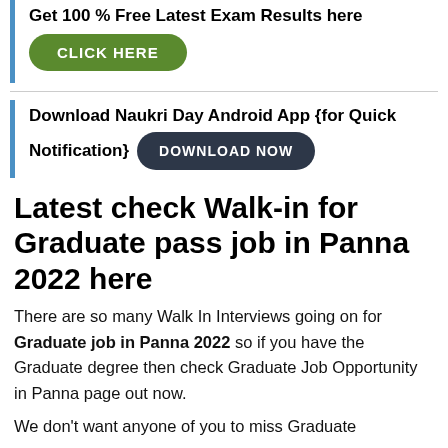Get 100 % Free Latest Exam Results here
[Figure (other): Green CLICK HERE button]
Download Naukri Day Android App {for Quick Notification}
[Figure (other): Dark DOWNLOAD NOW button]
Latest check Walk-in for Graduate pass job in Panna 2022 here
There are so many Walk In Interviews going on for Graduate job in Panna 2022 so if you have the Graduate degree then check Graduate Job Opportunity in Panna page out now.
We don't want anyone of you to miss Graduate